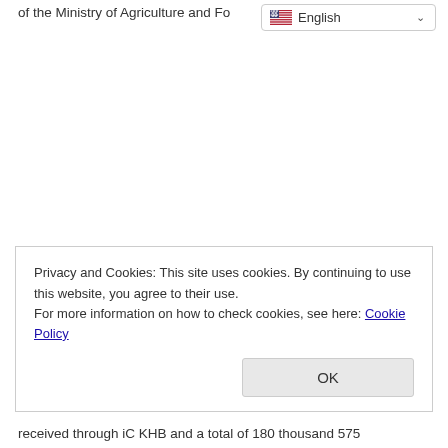of the Ministry of Agriculture and Fo…
[Figure (screenshot): Language selector dropdown showing English with US flag icon and chevron]
Privacy and Cookies: This site uses cookies. By continuing to use this website, you agree to their use.
For more information on how to check cookies, see here: Cookie Policy
OK
received through iC KHB and a total of 180 thousand 575…